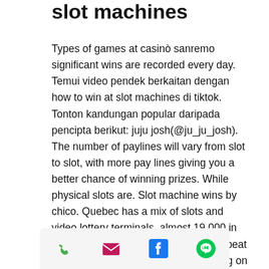slot machines
Types of games at casinò sanremo significant wins are recorded every day. Temui video pendek berkaitan dengan how to win at slot machines di tiktok. Tonton kandungan popular daripada pencipta berikut: juju josh(@ju_ju_josh). The number of paylines will vary from slot to slot, with more pay lines giving you a better chance of winning prizes. While physical slots are. Slot machine wins by chico. Quebec has a mix of slots and video lottery terminals, almost 19 000 in total. You get the impression you can beat the machine. Design your man winning on slot machine square video post with free editable templates!  benefit from a vast collection of 30k+ professionally-made. Videoslots casino - play online slots with over 5000 casino games. Get 11 free spins
[Figure (other): Bottom navigation bar with four icons: phone (green), email/envelope (pink/red), Facebook (blue), and LINE app (green circle with white lines)]